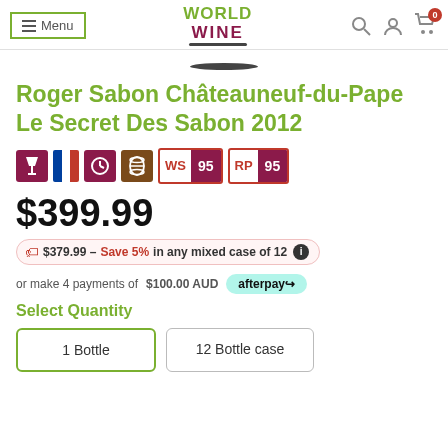Menu | World Wine | Search | Account | Cart (0)
Roger Sabon Châteauneuf-du-Pape Le Secret Des Sabon 2012
$399.99
$379.99 - Save 5% in any mixed case of 12
or make 4 payments of $100.00 AUD afterpay
Select Quantity
1 Bottle | 12 Bottle case